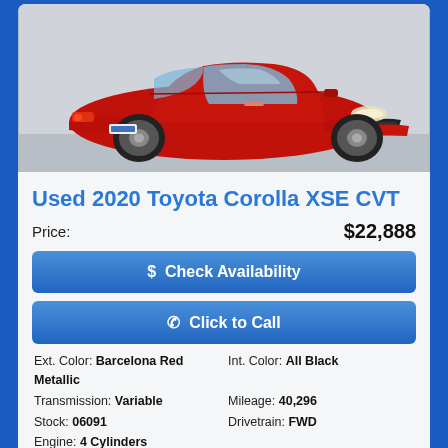[Figure (photo): Red Toyota Corolla XSE front three-quarter view in a parking lot]
Used 2020 Toyota Corolla XSE CVT
Price: $22,888
$ Check Availability
Click to Call
Ext. Color: Barcelona Red Metallic   Int. Color: All Black
Transmission: Variable   Mileage: 40,296
Stock: 06091   Drivetrain: FWD
Engine: 4 Cylinders
VIN 5YFT4RCE1LP003299